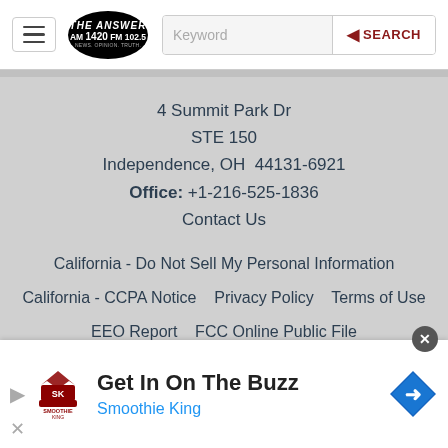[Figure (screenshot): Website header with hamburger menu, The Answer AM 1420 FM 102.5 radio station logo, and a keyword search bar with SEARCH button]
4 Summit Park Dr
STE 150
Independence, OH  44131-6921
Office: +1-216-525-1836
Contact Us
California - Do Not Sell My Personal Information
California - CCPA Notice   Privacy Policy   Terms of Use
EEO Report   FCC Online Public File
[Figure (screenshot): Advertisement banner: Get In On The Buzz - Smoothie King, with Smoothie King logo and navigation arrow icon]